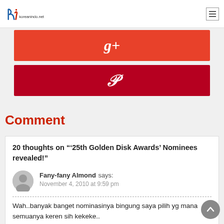koreanindo.net
[Figure (logo): koreanindo.net website logo with blue/red 'hi' icon and site name text]
[Figure (infographic): Google+ share button (red/orange background with g+ icon) and Pinterest share button (dark red background with P icon)]
Comment
20 thoughts on "'25th Golden Disk Awards' Nominees revealed!"
Fany-fany Almond says: November 4, 2010 at 9:59 pm
Wah..banyak banget nominasinya bingung saya pilih yg mana semuanya keren sih kekeke.. Tapi aku mau ngevote SNSD ah kan udah diposisi kedua tuh disana kekeke.